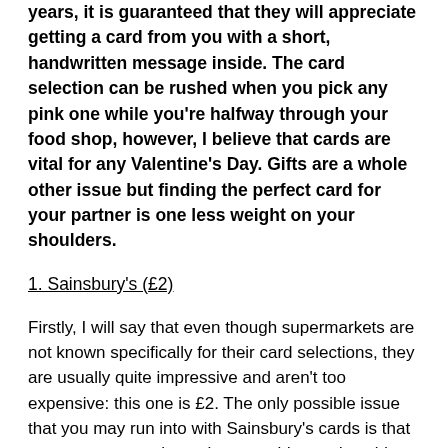years, it is guaranteed that they will appreciate getting a card from you with a short, handwritten message inside. The card selection can be rushed when you pick any pink one while you're halfway through your food shop, however, I believe that cards are vital for any Valentine's Day. Gifts are a whole other issue but finding the perfect card for your partner is one less weight on your shoulders.
1. Sainsbury's (£2)
Firstly, I will say that even though supermarkets are not known specifically for their card selections, they are usually quite impressive and aren't too expensive: this one is £2. The only possible issue that you may run into with Sainsbury's cards is that your partner may have the same idea and could get you the same one (depending on how well you know each other!) Sainsbury's and other